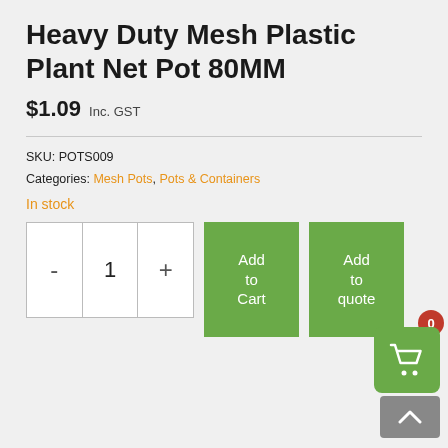Heavy Duty Mesh Plastic Plant Net Pot 80MM
$1.09 Inc. GST
SKU: POTS009
Categories: Mesh Pots, Pots & Containers
In stock
[Figure (screenshot): Quantity selector with minus, 1, plus buttons; Add to Cart green button; Add to quote green button; cart icon widget with badge showing 0; scroll-up arrow button]